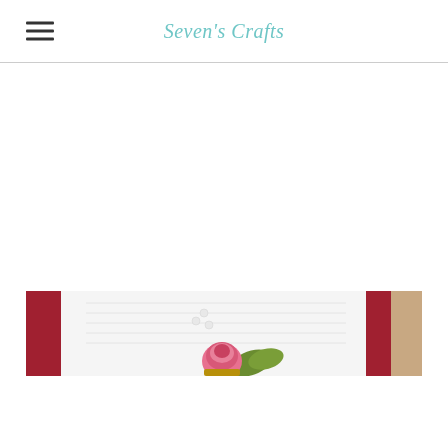Seven's Crafts
[Figure (photo): A crafting photo showing a handmade card with a pink rose and green leaf embellishment on white card stock, placed on a red cardstock mat with a kraft paper background visible in the corner. Small white pearl embellishments are also visible.]